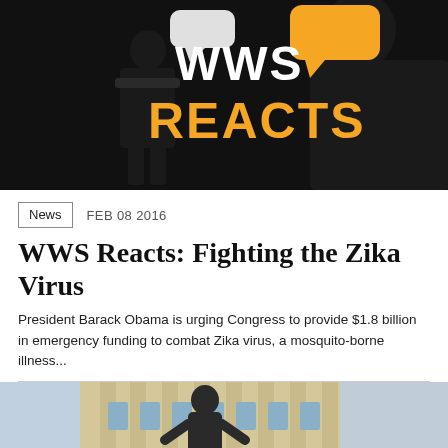[Figure (logo): WWS Reacts logo — black background with silhouette of a speaker at podium with speech bubbles, white text 'WWS' and orange text 'REACTS']
News   FEB 08 2016
WWS Reacts: Fighting the Zika Virus
President Barack Obama is urging Congress to provide $1.8 billion in emergency funding to combat Zika virus, a mosquito-borne illness...
[Figure (photo): Outdoor photo of a person in a dark suit gesturing near a large classical building with columns]